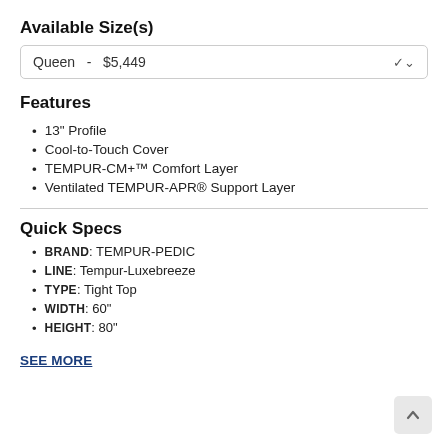Available Size(s)
Queen  -  $5,449
Features
13" Profile
Cool-to-Touch Cover
TEMPUR-CM+™ Comfort Layer
Ventilated TEMPUR-APR® Support Layer
Quick Specs
BRAND: TEMPUR-PEDIC
LINE: Tempur-Luxebreeze
TYPE: Tight Top
WIDTH: 60"
HEIGHT: 80"
SEE MORE